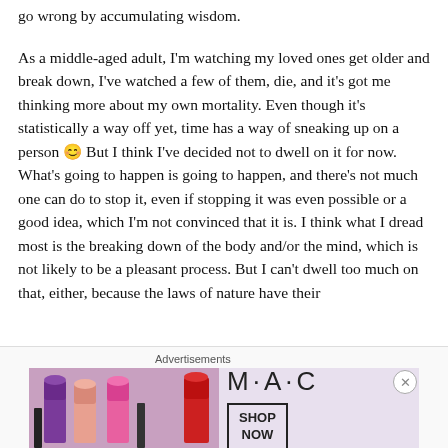go wrong by accumulating wisdom.
As a middle-aged adult, I'm watching my loved ones get older and break down, I've watched a few of them, die, and it's got me thinking more about my own mortality. Even though it's statistically a way off yet, time has a way of sneaking up on a person 😊 But I think I've decided not to dwell on it for now. What's going to happen is going to happen, and there's not much one can do to stop it, even if stopping it was even possible or a good idea, which I'm not convinced that it is. I think what I dread most is the breaking down of the body and/or the mind, which is not likely to be a pleasant process. But I can't dwell too much on that, either, because the laws of nature have their
[Figure (photo): Advertisement banner for MAC cosmetics featuring lipsticks in purple, pink, and red shades with the MAC logo and a 'SHOP NOW' button]